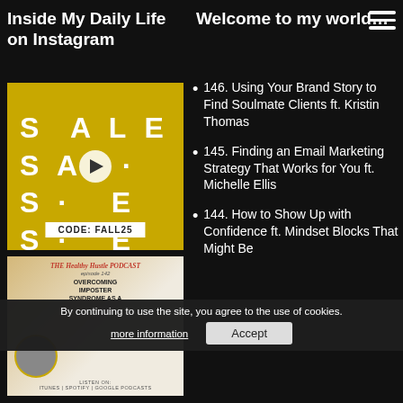Inside My Daily Life on Instagram
Welcome to my world…
[Figure (photo): Yellow promotional image with woman raising arms, text SALE repeated, play button overlay, CODE: FALL25 badge]
[Figure (photo): The Healthy Hustle Podcast episode 142 cover - Overcoming Imposter Syndrome]
146. Using Your Brand Story to Find Soulmate Clients ft. Kristin Thomas
145. Finding an Email Marketing Strategy That Works for You ft. Michelle Ellis
144. How to Show Up with Confidence ft. Mindset Blocks That Might Be
By continuing to use the site, you agree to the use of cookies.
more information
Accept